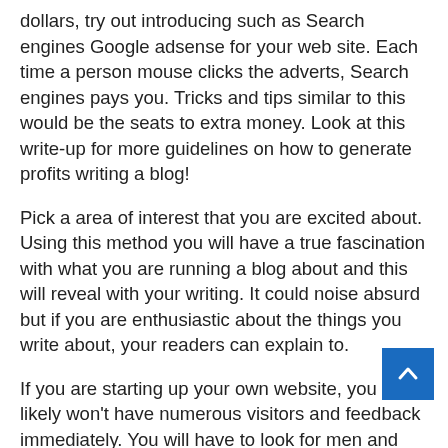dollars, try out introducing such as Search engines Google adsense for your web site. Each time a person mouse clicks the adverts, Search engines pays you. Tricks and tips similar to this would be the seats to extra money. Look at this write-up for more guidelines on how to generate profits writing a blog!
Pick a area of interest that you are excited about. Using this method you will have a true fascination with what you are running a blog about and this will reveal with your writing. It could noise absurd but if you are enthusiastic about the things you write about, your readers can explain to.
If you are starting up your own website, you most likely won't have numerous visitors and feedback immediately. You will have to look for men and women and suggest to them you are present. Some methods to accomplish this are with social networking, including
Facebook and Twitter. Begin using these internet sites to communicate with folks, not only to submit back links.
When having a blog, ensure that you ask open up-ended questions. One of the most powerful methods of getting people to answer your site content is actually requesting it.